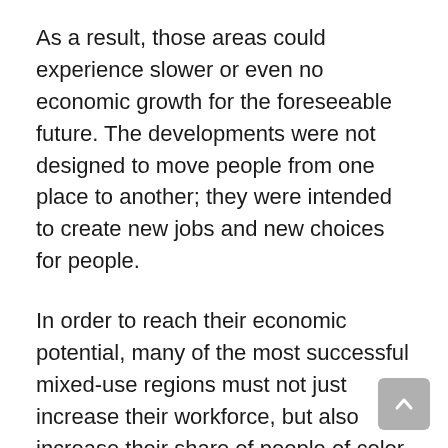As a result, those areas could experience slower or even no economic growth for the foreseeable future. The developments were not designed to move people from one place to another; they were intended to create new jobs and new choices for people.
In order to reach their economic potential, many of the most successful mixed-use regions must not just increase their workforce, but also increase their share of people of color and international trade. If successful, these new and improved urban infill areas could become the preferred